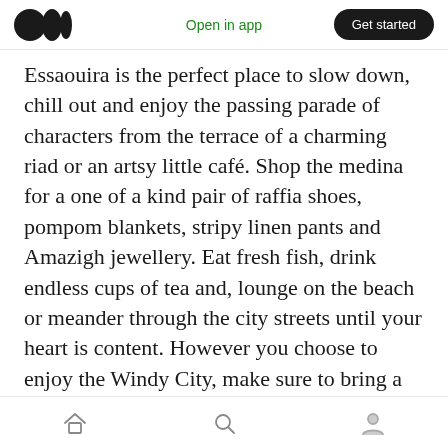Open in app | Get started
Essaouira is the perfect place to slow down, chill out and enjoy the passing parade of characters from the terrace of a charming riad or an artsy little café. Shop the medina for a one of a kind pair of raffia shoes, pompom blankets, stripy linen pants and Amazigh jewellery. Eat fresh fish, drink endless cups of tea and, lounge on the beach or meander through the city streets until your heart is content. However you choose to enjoy the Windy City, make sure to bring a warm jumper and a half empty suitcase.
Written by · Jane Cornish for The Nono
Home | Search | Profile